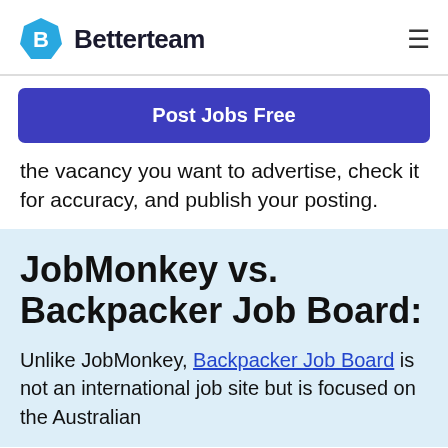Betterteam
Post Jobs Free
the vacancy you want to advertise, check it for accuracy, and publish your posting.
JobMonkey vs. Backpacker Job Board:
Unlike JobMonkey, Backpacker Job Board is not an international job site but is focused on the Australian